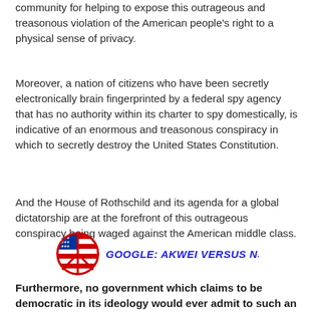community for helping to expose this outrageous and treasonous violation of the American people's right to a physical sense of privacy.
Moreover, a nation of citizens who have been secretly electronically brain fingerprinted by a federal spy agency that has no authority within its charter to spy domestically, is indicative of an enormous and treasonous conspiracy in which to secretly destroy the United States Constitution.
And the House of Rothschild and its agenda for a global dictatorship are at the forefront of this outrageous conspiracy being waged against the American middle class.
[Figure (logo): Peace symbol with American flag design next to bold italic text reading GOOGLE: AKWEI VERSUS NSA in blue]
Furthermore, no government which claims to be democratic in its ideology would ever admit to such an outrageous violation of privacy, since in doing so, that